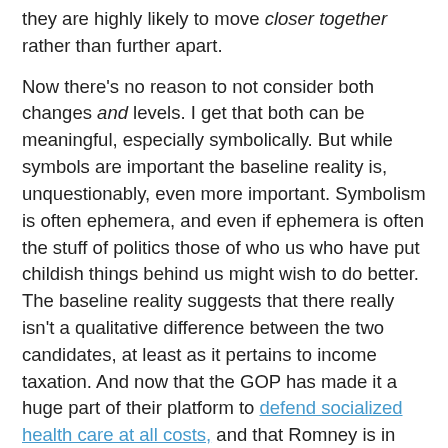they are highly likely to move closer together rather than further apart.
Now there's no reason to not consider both changes and levels. I get that both can be meaningful, especially symbolically. But while symbols are important the baseline reality is, unquestionably, even more important. Symbolism is often ephemera, and even if ephemera is often the stuff of politics those of who us who have put childish things behind us might wish to do better. The baseline reality suggests that there really isn't a qualitative difference between the two candidates, at least as it pertains to income taxation. And now that the GOP has made it a huge part of their platform to defend socialized health care at all costs, and that Romney is in favor of keeping the majority of PPACA intact too, I'm not super-clear on how they qualitatively differ on health care reform either. Maybe they'd differ greatly on foreign policy (paging Drezner!), but I can't for the life of me discern what Obama's foreign policy actually is -- "pivot to Asia" and "use drones to blow up whomever we damn well please" notwithstanding -- and Romney stubbornly refuses to even broach the subject*.